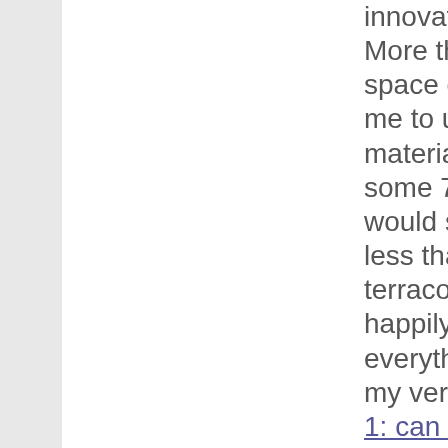innovation.:) More than the load it was space crunch which led me to use & recycle materials around me. Only some 7-8 months ago I would settle for nothing less than good old terracotta pots but now I happily use anything and everything which fits into my very narrow space.
1: can one keep these plants in plastic bags for long?
When I look at my happy plants I am forced to say YES. I now worry about